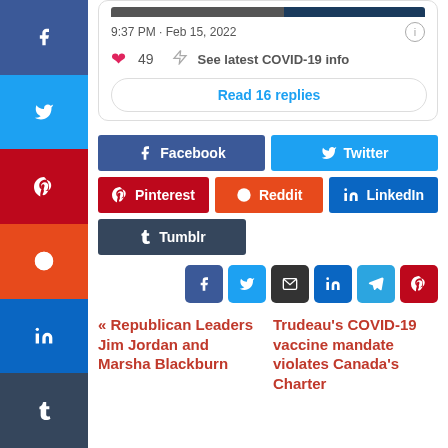[Figure (screenshot): Sidebar with social media icons: Facebook, Twitter, Pinterest, Reddit, LinkedIn, Tumblr]
9:37 PM · Feb 15, 2022
49  See latest COVID-19 info
Read 16 replies
[Figure (screenshot): Social share buttons: Facebook, Twitter, Pinterest, Reddit, LinkedIn, Tumblr]
[Figure (screenshot): Small social icon row: Facebook, Twitter, Email, LinkedIn, Telegram, Pinterest]
« Republican Leaders Jim Jordan and Marsha Blackburn
Trudeau's COVID-19 vaccine mandate violates Canada's Charter